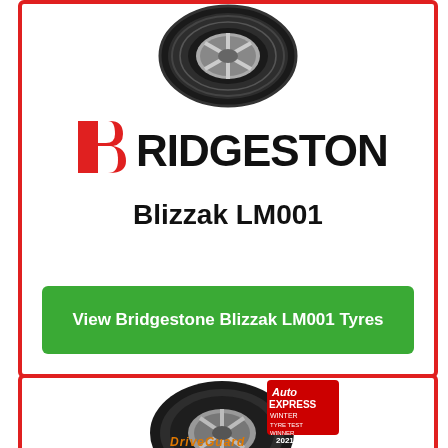[Figure (photo): Bridgestone Blizzak LM001 winter tyre viewed from front-top angle]
[Figure (logo): Bridgestone logo with red B and black RIDGESTONE text]
Blizzak LM001
View Bridgestone Blizzak LM001 Tyres
[Figure (photo): Winter tyre with Auto Express Winter Tyre Test Winner 2021 badge and DriveGuard logo at bottom]